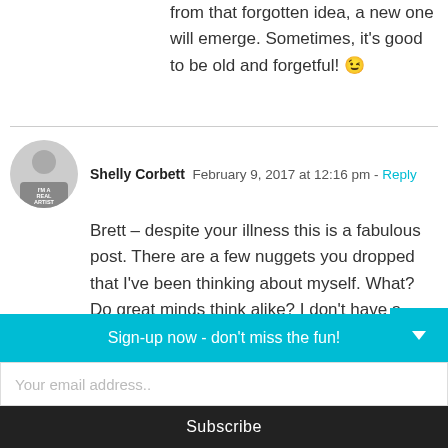from that forgotten idea, a new one will emerge. Sometimes, it's good to be old and forgetful! 😉
Shelly Corbett  February 9, 2017 at 12:16 pm - Reply
Brett – despite your illness this is a fabulous post. There are a few nuggets you dropped that I've been thinking about myself. What? Do great minds think alike? I don't have a shelf but I do have a desk which always has a pile of mini
Sign-up now - don't miss the fun!
Your email address..
Subscribe